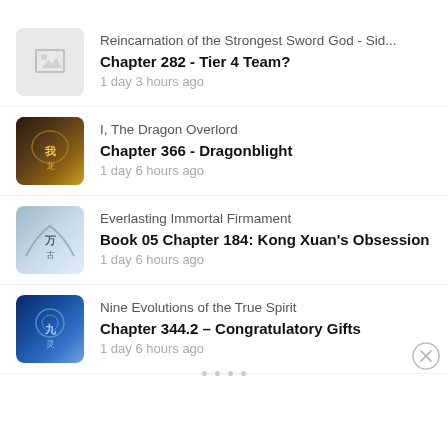Reincarnation of the Strongest Sword God - Sid...
Chapter 282 - Tier 4 Team?
1 day 3 hours ago
I, The Dragon Overlord
Chapter 366 - Dragonblight
1 day 6 hours ago
Everlasting Immortal Firmament
Book 05 Chapter 184: Kong Xuan's Obsession
1 day 6 hours ago
Nine Evolutions of the True Spirit
Chapter 344.2 – Congratulatory Gifts
1 day 6 hours ago